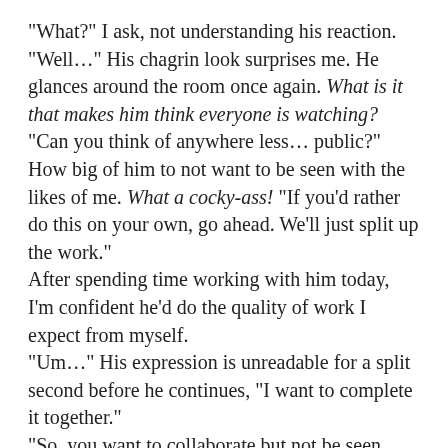“What?” I ask, not understanding his reaction. “Well…” His chagrin look surprises me. He glances around the room once again. What is it that makes him think everyone is watching? “Can you think of anywhere less… public?” How big of him to not want to be seen with the likes of me. What a cocky-ass! “If you’d rather do this on your own, go ahead. We’ll just split up the work.” After spending time working with him today, I’m confident he’d do the quality of work I expect from myself. “Um…” His expression is unreadable for a split second before he continues, “I want to complete it together.” “So, you want to collaborate but not be seen with me in public? Exactly how am I supposed to take that?” My defenses are up. If this douche canoe wants my help, but doesn’t want to be seen with me…